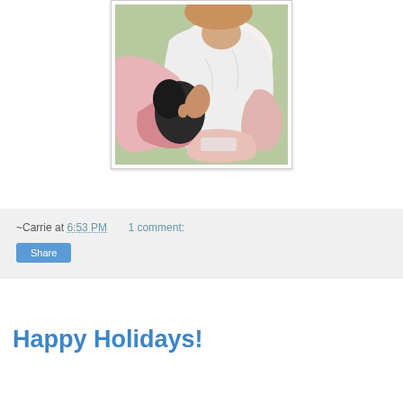[Figure (photo): Close-up photo of a baby wearing a white onesie, held by someone, with a pink blanket or clothing visible. The baby appears to be holding or near a dark object.]
~Carrie at 6:53 PM    1 comment:
Share
Happy Holidays!